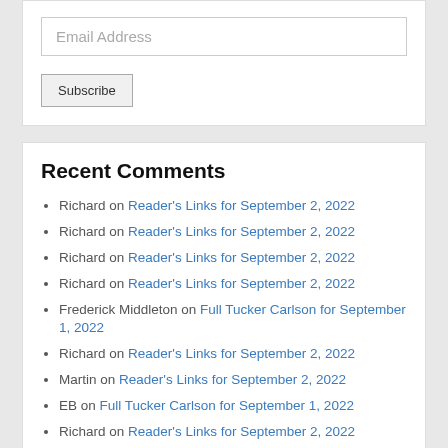Email Address
Subscribe
Recent Comments
Richard on Reader's Links for September 2, 2022
Richard on Reader's Links for September 2, 2022
Richard on Reader's Links for September 2, 2022
Richard on Reader's Links for September 2, 2022
Frederick Middleton on Full Tucker Carlson for September 1, 2022
Richard on Reader's Links for September 2, 2022
Martin on Reader's Links for September 2, 2022
EB on Full Tucker Carlson for September 1, 2022
Richard on Reader's Links for September 2, 2022